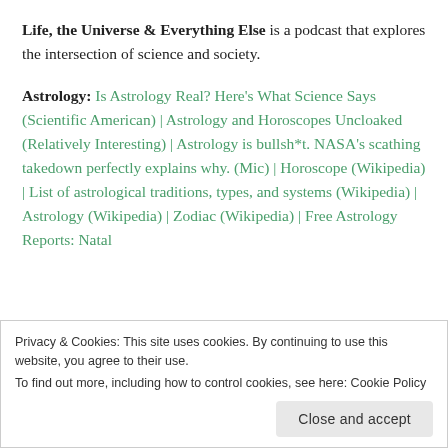Life, the Universe & Everything Else is a podcast that explores the intersection of science and society.
Astrology: Is Astrology Real? Here's What Science Says (Scientific American) | Astrology and Horoscopes Uncloaked (Relatively Interesting) | Astrology is bullsh*t. NASA's scathing takedown perfectly explains why. (Mic) | Horoscope (Wikipedia) | List of astrological traditions, types, and systems (Wikipedia) | Astrology (Wikipedia) | Zodiac (Wikipedia) | Free Astrology Reports: Natal
Privacy & Cookies: This site uses cookies. By continuing to use this website, you agree to their use.
To find out more, including how to control cookies, see here: Cookie Policy